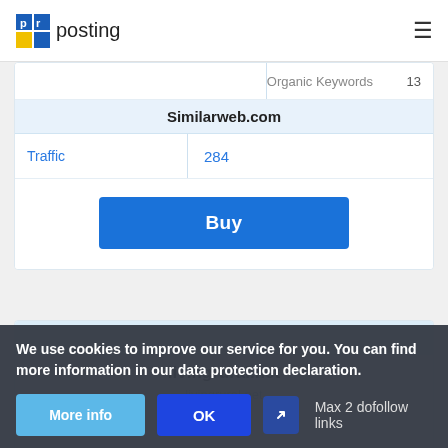pr posting
|  | Organic Keywords | 13 |
| Similarweb.com |  |  |
| Traffic | 284 |  |
Buy
[Figure (screenshot): Partial card showing livingrural.net site listing header]
We use cookies to improve our service for you. You can find more information in our data protection declaration.
More info
OK
Max 2 dofollow links